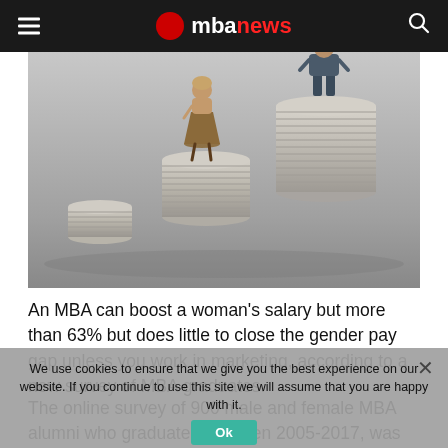mbanews
[Figure (photo): Two miniature figurines — a woman and a man — standing on separate stacks of coins, illustrating gender pay gap. The man stands on a taller stack of coins than the woman.]
An MBA can boost a woman's salary but more than 63% but does little to close the gender pay gap unless you work in marketing, according to a new survey of MBA graduates.
The online survey of 900 male and female MBA alumni who graduated between 2005-2017, was conducted by Forté Foundation and led by Michelle Wieser, Interim Dean, School
We use cookies to ensure that we give you the best experience on our website. If you continue to use this site we will assume that you are happy with it.